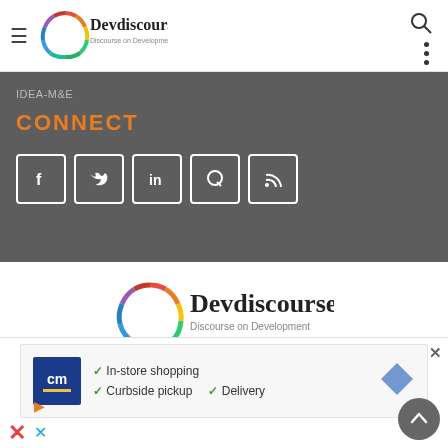Devdiscourse — Discourse on Development
IDEA-M&E
CONNECT
[Figure (logo): Social media icons: Facebook, Twitter, LinkedIn, Quora, RSS feed in white bordered square boxes]
[Figure (logo): Devdiscourse large logo with colorful circle and text 'Discourse on Development']
Email: info@devdiscourse.com
[Figure (infographic): Advertisement banner: CM logo, In-store shopping, Curbside pickup, Delivery checkmarks]